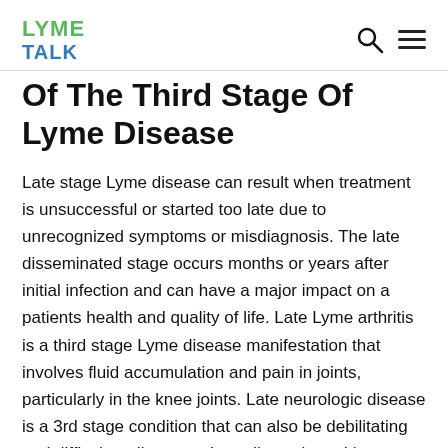LYME TALK
Of The Third Stage Of Lyme Disease
Late stage Lyme disease can result when treatment is unsuccessful or started too late due to unrecognized symptoms or misdiagnosis. The late disseminated stage occurs months or years after initial infection and can have a major impact on a patients health and quality of life. Late Lyme arthritis is a third stage Lyme disease manifestation that involves fluid accumulation and pain in joints, particularly in the knee joints. Late neurologic disease is a 3rd stage condition that can also be debilitating and difficult to diagnose. Late disseminated Lyme disease symptoms include a variety of symptoms that are often